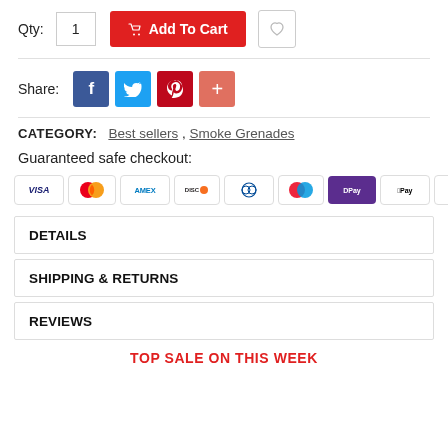Qty: 1  Add To Cart
Share:
CATEGORY: Best sellers , Smoke Grenades
Guaranteed safe checkout:
[Figure (infographic): Payment method icons: VISA, Mastercard, AMEX, Discover, Diners Club, Maestro, DPay, Apple Pay, Google Pay]
DETAILS
SHIPPING & RETURNS
REVIEWS
TOP SALE ON THIS WEEK